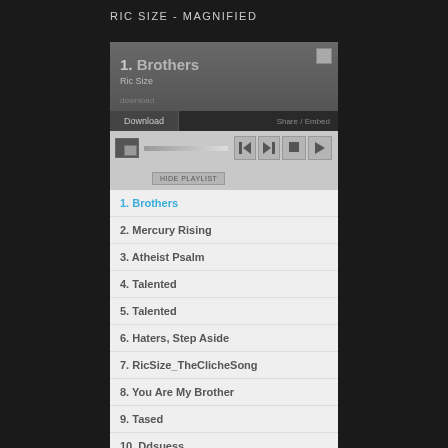RIC SIZE - MAGNIFIED
[Figure (screenshot): Music player interface showing track '1. Brothers' by Ric Size with Download button, playback controls (skip previous, skip next, stop, play), and HIDE PLAYLIST button]
1. Brothers
2. Mercury Rising
3. Atheist Psalm
4. Talented
5. Talented
6. Haters, Step Aside
7. RicSize_TheClicheSong
8. You Are My Brother
9. Tased
10. Ddsuess
11. Problem Solved